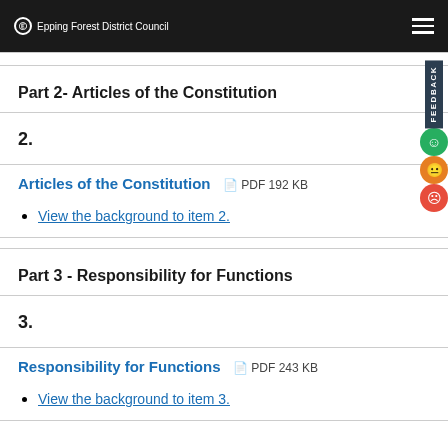Epping Forest District Council
Part 2- Articles of the Constitution
2.
Articles of the Constitution  PDF 192 KB
View the background to item 2.
Part 3 - Responsibility for Functions
3.
Responsibility for Functions  PDF 243 KB
View the background to item 3.